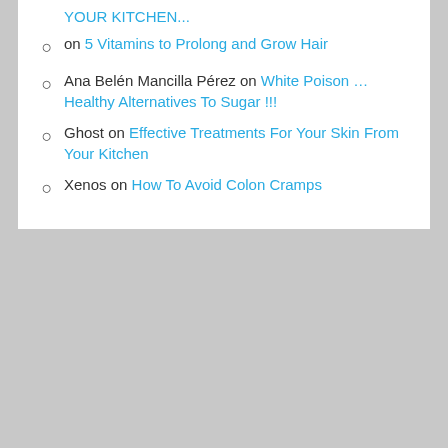on 5 Vitamins to Prolong and Grow Hair
Ana Belén Mancilla Pérez on White Poison … Healthy Alternatives To Sugar !!!
Ghost on Effective Treatments For Your Skin From Your Kitchen
Xenos on How To Avoid Colon Cramps